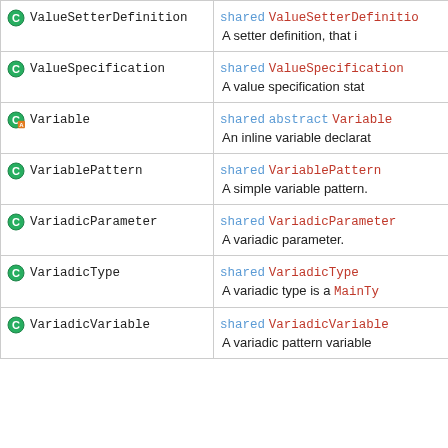| Name | Description |
| --- | --- |
| ValueSetterDefinition | shared ValueSetterDefinition
A setter definition, that i |
| ValueSpecification | shared ValueSpecification
A value specification stat |
| Variable | shared abstract Variable
An inline variable declarat |
| VariablePattern | shared VariablePattern
A simple variable pattern. |
| VariadicParameter | shared VariadicParameter
A variadic parameter. |
| VariadicType | shared VariadicType
A variadic type is a MainTy |
| VariadicVariable | shared VariadicVariable
A variadic pattern variable |